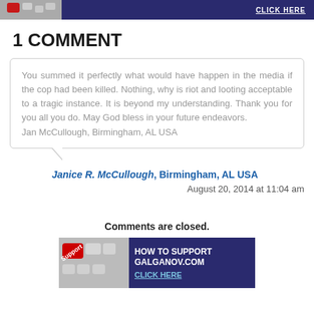[Figure (screenshot): Top banner with keyboard image and 'CLICK HERE' text on dark blue background]
1 COMMENT
You summed it perfectly what would have happen in the media if the cop had been killed. Nothing, why is riot and looting acceptable to a tragic instance. It is beyond my understanding. Thank you for you all you do. May God bless in your future endeavors.
Jan McCullough, Birmingham, AL USA
Janice R. McCullough, Birmingham, AL USA
August 20, 2014 at 11:04 am
Comments are closed.
[Figure (screenshot): Bottom banner with keyboard image and 'HOW TO SUPPORT GALGANOV.COM CLICK HERE' on dark blue background]